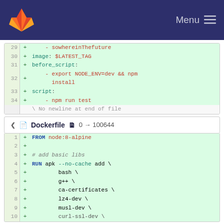GitLab navbar with logo and Menu
[Figure (screenshot): Code diff block showing lines 29-34 of a GitLab CI YAML file with added lines: sowhereinThefuture, image: $LATEST_TAG, before_script:, export NODE_ENV=dev && npm install, script:, npm run test, and a no-newline-at-end-of-file indicator]
Dockerfile  0 → 100644
[Figure (screenshot): Code diff block showing lines 1-9+ of a Dockerfile with added lines: FROM node:8-alpine, blank line, # add basic libs, RUN apk --no-cache add \, bash \, g++ \, ca-certificates \, lz4-dev \, musl-dev \, and partial line 10]